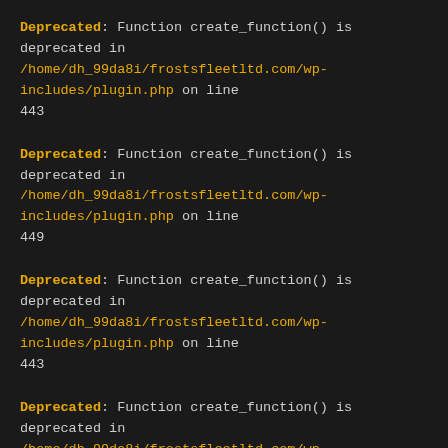Deprecated: Function create_function() is deprecated in /home/dh_99da8i/frostsfleetltd.com/wp-includes/plugin.php on line 443
Deprecated: Function create_function() is deprecated in /home/dh_99da8i/frostsfleetltd.com/wp-includes/plugin.php on line 449
Deprecated: Function create_function() is deprecated in /home/dh_99da8i/frostsfleetltd.com/wp-includes/plugin.php on line 443
Deprecated: Function create_function() is deprecated in /home/dh_99da8i/frostsfleetltd.com/wp-includes/plugin.php on line 449
[Figure (other): Three social media icon buttons: Twitter (bird icon), Facebook (f), LinkedIn (in), styled with amber/yellow background on dark background]
Deprecated: Function create_function() is deprecated in